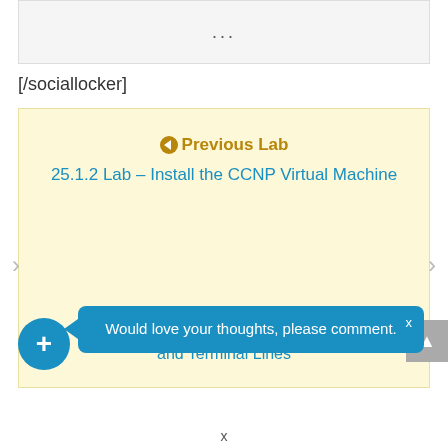...
[/sociallocker]
[Figure (screenshot): Navigation box with yellow background showing Previous Lab link to '25.1.2 Lab – Install the CCNP Virtual Machine' and a partially visible Next Lab link about passwords and Terminal Lines]
Would love your thoughts, please comment.
x